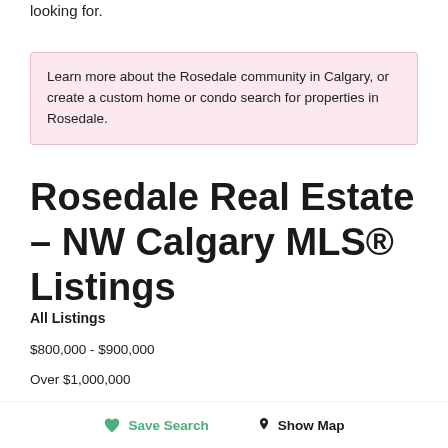looking for.
Learn more about the Rosedale community in Calgary, or create a custom home or condo search for properties in Rosedale.
Rosedale Real Estate – NW Calgary MLS® Listings
All Listings
$800,000 - $900,000
Over $1,000,000
Save Search   Show Map